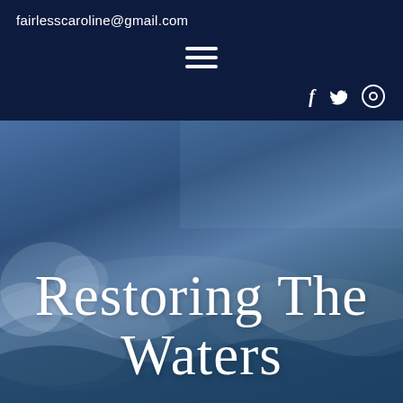fairlesscaroline@gmail.com
[Figure (other): Hamburger menu icon — three horizontal white bars on dark navy background]
[Figure (other): Social media icons: f (Facebook), bird (Twitter), circle (YouTube/other) in white on dark navy background]
[Figure (photo): Hero image of an ocean wave with blue-toned water and foam, overlaid with large cursive white text reading 'Restoring The Waters']
Restoring The Waters